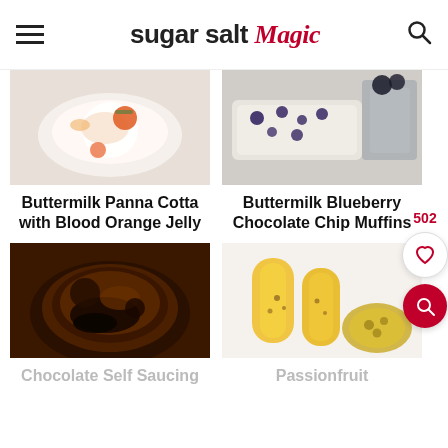sugar salt magic
[Figure (photo): Buttermilk Panna Cotta with Blood Orange Jelly food photo]
Buttermilk Panna Cotta with Blood Orange Jelly
[Figure (photo): Buttermilk Blueberry Chocolate Chip Muffins food photo]
Buttermilk Blueberry Chocolate Chip Muffins
[Figure (photo): Chocolate Self Saucing Pudding food photo]
[Figure (photo): Passionfruit drink food photo]
Chocolate Self Saucing
Passionfruit